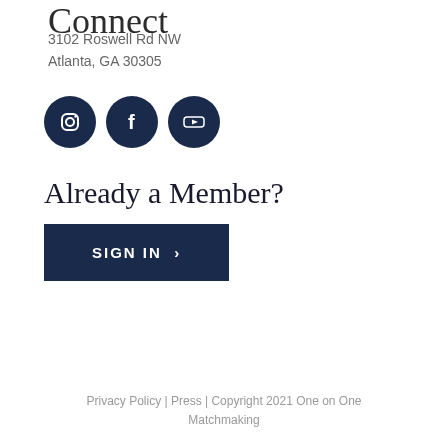Connect
3102 Roswell Rd NW
Atlanta, GA 30305
[Figure (illustration): Three dark navy circular social media icons for Instagram, Facebook, and YouTube]
Already a Member?
SIGN IN ›
Privacy Policy | Press | Copyright 2021 One on One Matchmaking